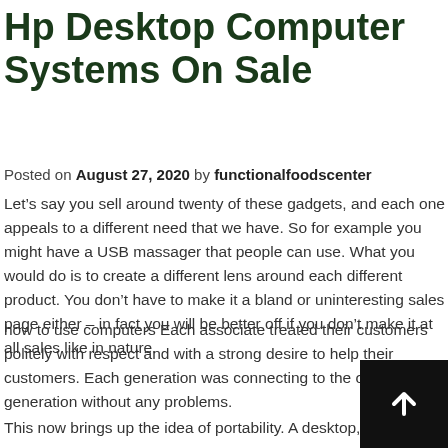Hp Desktop Computer Systems On Sale
Posted on August 27, 2020 by functionalfoodscenter
Let’s say you sell around twenty of these gadgets, and each one appeals to a different need that we have. So for example you might have a USB massager that people can use. What you would do is to create a different lens around each different product. You don’t have to make it a bland or uninteresting sales page either – in fact you will be better off if you don’t make it at all sales like in nature.
how to use computers Each associate treated their customers politely with respect and with a strong desire to help their customers. Each generation was connecting to the other generation without any problems.
This now brings up the idea of portability. A desktop, normally,